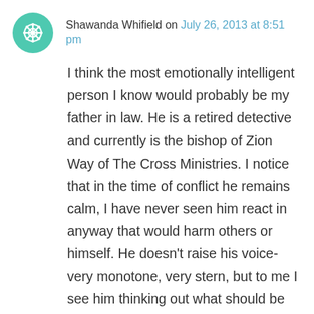Shawanda Whifield on July 26, 2013 at 8:51 pm
I think the most emotionally intelligent person I know would probably be my father in law. He is a retired detective and currently is the bishop of Zion Way of The Cross Ministries. I notice that in the time of conflict he remains calm, I have never seen him react in anyway that would harm others or himself. He doesn't raise his voice- very monotone, very stern, but to me I see him thinking out what should be done first. I notice he always think of a plan before speaking, he observes the situation and the act peacefully as possible. He is a natural mediator that people turn to for help in our family, church and most of all his community. I admire him for how he